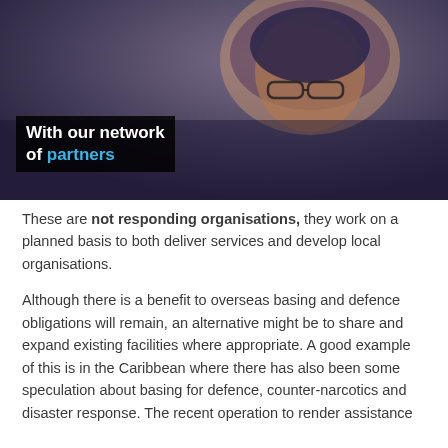[Figure (screenshot): Video thumbnail showing a woman wearing a headscarf and glasses, looking down. A red YouTube play button is displayed in the center. A black caption box in the lower left reads 'With our network of partners' with 'partners' in blue.]
These are not responding organisations, they work on a planned basis to both deliver services and develop local organisations.
Although there is a benefit to overseas basing and defence obligations will remain, an alternative might be to share and expand existing facilities where appropriate. A good example of this is in the Caribbean where there has also been some speculation about basing for defence, counter-narcotics and disaster response. The recent operation to render assistance to the devastated islands in the Caribbean was a landmark